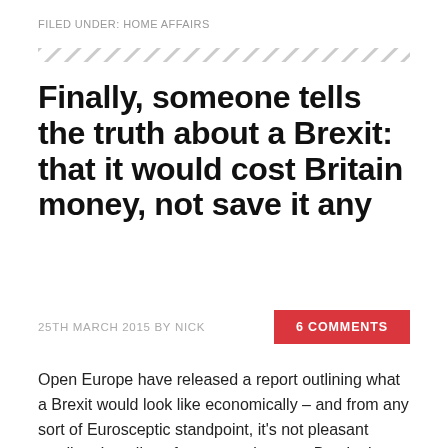FILED UNDER: HOME AFFAIRS
Finally, someone tells the truth about a Brexit: that it would cost Britain money, not save it any
25TH MARCH 2015 BY NICK
6 COMMENTS
Open Europe have released a report outlining what a Brexit would look like economically – and from any sort of Eurosceptic standpoint, it's not pleasant reading. It outlines four scenarios post-Brexit; they range from economically catastrophic to economically slightly positive. And the one in which Britain fares the best involves deregulating everything